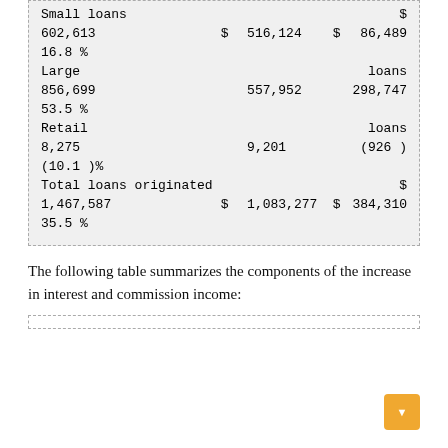|  |  |  |  |  |
| --- | --- | --- | --- | --- |
| Small loans |  |  |  | $ |
| 602,613 | $ | 516,124 | $ | 86,489 |
| 16.8 % |  |  |  |  |
| Large |  |  |  | loans |
| 856,699 |  | 557,952 |  | 298,747 |
| 53.5 % |  |  |  |  |
| Retail |  |  |  | loans |
| 8,275 |  | 9,201 |  | (926 ) |
| (10.1 )% |  |  |  |  |
| Total loans originated |  |  |  | $ |
| 1,467,587 | $ | 1,083,277 | $ | 384,310 |
| 35.5 % |  |  |  |  |
The following table summarizes the components of the increase in interest and commission income: